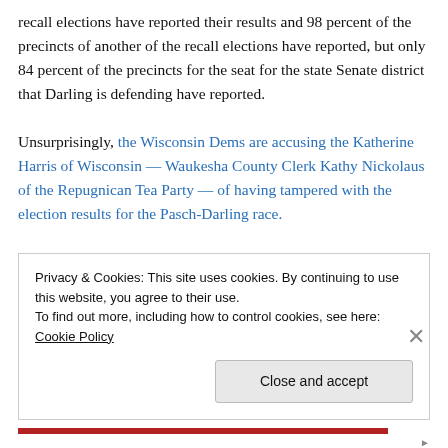recall elections have reported their results and 98 percent of the precincts of another of the recall elections have reported, but only 84 percent of the precincts for the seat for the state Senate district that Darling is defending have reported.

Unsurprisingly, the Wisconsin Dems are accusing the Katherine Harris of Wisconsin — Waukesha County Clerk Kathy Nickolaus of the Repugnican Tea Party — of having tampered with the election results for the Pasch-Darling race.
Privacy & Cookies: This site uses cookies. By continuing to use this website, you agree to their use.
To find out more, including how to control cookies, see here: Cookie Policy